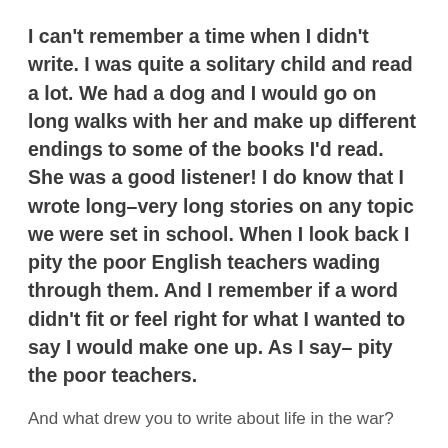I can't remember a time when I didn't write. I was quite a solitary child and read a lot. We had a dog and I would go on long walks with her and make up different endings to some of the books I'd read. She was a good listener! I do know that I wrote long–very long stories on any topic we were set in school. When I look back I pity the poor English teachers wading through them. And I remember if a word didn't fit or feel right for what I wanted to say I would make one up. As I say– pity the poor teachers.
And what drew you to write about life in the war?
Having had an interest in recent history for as long as I can recall it often struck me how much drastic change and how many awful events there have been in the world over the last century. The more I